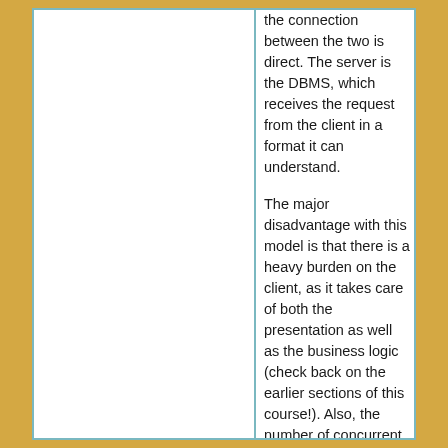the connection between the two is direct. The server is the DBMS, which receives the request from the client in a format it can understand.
The major disadvantage with this model is that there is a heavy burden on the client, as it takes care of both the presentation as well as the business logic (check back on the earlier sections of this course!). Also, the number of concurrent connections is limited because the connections are held by the application.